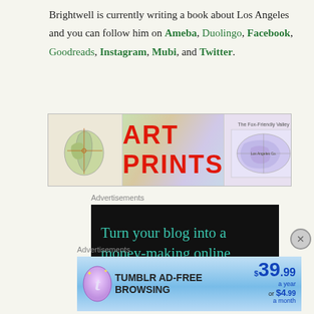Brightwell is currently writing a book about Los Angeles and you can follow him on Ameba, Duolingo, Facebook, Goodreads, Instagram, Mubi, and Twitter.
[Figure (illustration): Art Prints banner with colorful map images and large red ART PRINTS text]
Advertisements
[Figure (screenshot): Dark advertisement: Turn your blog into a money-making online course]
Advertisements
[Figure (screenshot): Tumblr Ad-Free Browsing advertisement: $39.99 a year or $4.99 a month]